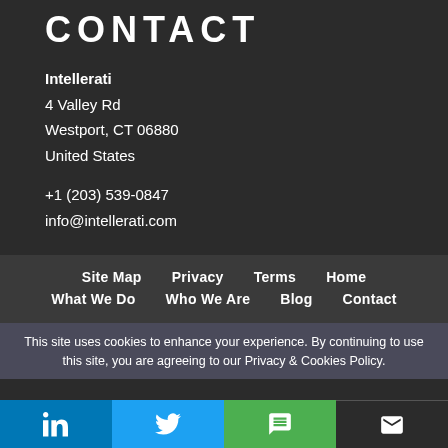CONTACT
Intellerati
4 Valley Rd
Westport, CT 06880
United States
+1 (203) 539-0847
info@intellerati.com
Site Map | Privacy | Terms | Home | What We Do | Who We Are | Blog | Contact
This site uses cookies to enhance your experience. By continuing to use this site, you are agreeing to our Privacy & Cookies Policy.
[Figure (infographic): Social sharing bar with LinkedIn, Twitter, SMS, and email buttons]